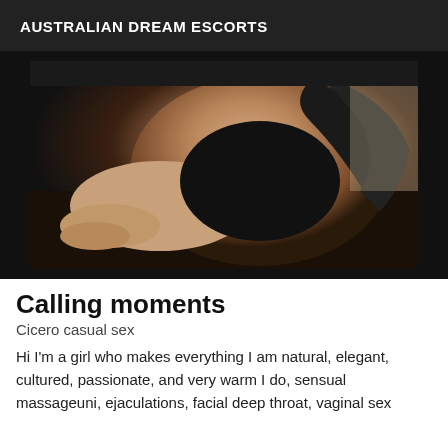AUSTRALIAN DREAM ESCORTS
[Figure (photo): Woman in black swimwear posing on a dark surface, photographed from behind]
Calling moments
Cicero casual sex
Hi I'm a girl who makes everything I am natural, elegant, cultured, passionate, and very warm I do, sensual massageuni, ejaculations, facial deep throat, vaginal sex